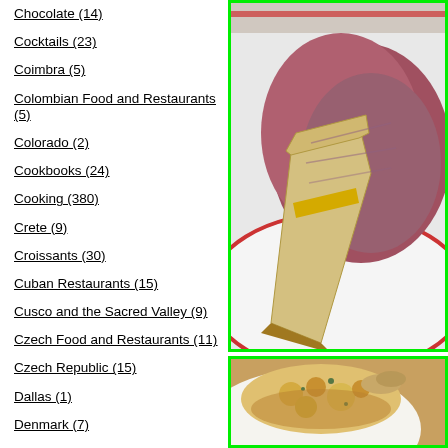Chocolate (14)
Cocktails (23)
Coimbra (5)
Colombian Food and Restaurants (5)
Colorado (2)
Cookbooks (24)
Cooking (380)
Crete (9)
Croissants (30)
Cuban Restaurants (15)
Cusco and the Sacred Valley (9)
Czech Food and Restaurants (11)
Czech Republic (15)
Dallas (1)
Denmark (7)
Desserts (130)
Detroit, Michigan (4)
Dim Sum (47)
[Figure (photo): Close-up photo of a deli sandwich (corned beef or pastrami) with yellow mustard on white bread, served on a white plate with red rim]
[Figure (photo): Close-up photo of a plate of food with pasta or dumplings and vegetables in a golden-brown sauce]